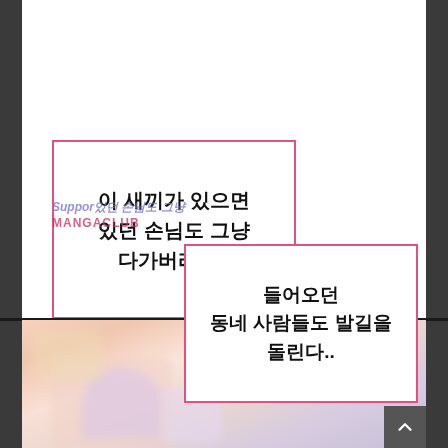[Figure (illustration): Manga/webtoon page panel. Top white area with two pink-bordered speech/text boxes containing Korean dialogue. Bottom portion shows a blurred bedroom photo. Dark sidebars on left and right edges.]
이 새끼가 있으면
있던 손님도 그냥
다가버리고..
들어오던
동네 사람들도 발길을
돌린다..